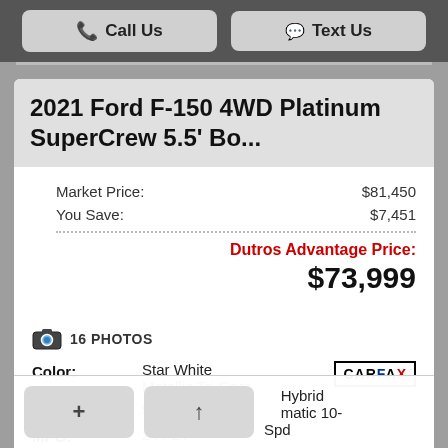Call Us   Text Us
2021 Ford F-150 4WD Platinum SuperCrew 5.5' Bo...
Market Price: $81,450
You Save: $7,451
Dutros Advantage Price:
$73,999
16 PHOTOS
| Label | Value |
| --- | --- |
| Color: | Star White Metallic Tri-Coat |
| Mileage: | 9,576 |
| MPG: | 24 / 24 |
| Engine: | V6 Twin Turbo Hybrid Automatic 10-Spd |